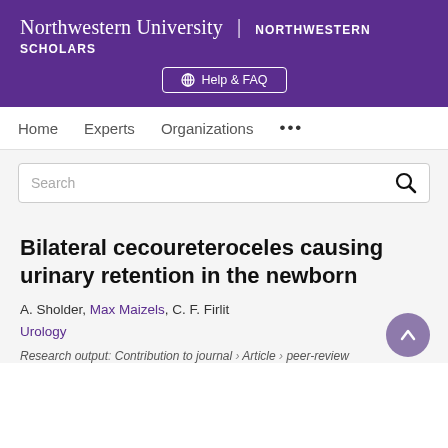Northwestern University | NORTHWESTERN SCHOLARS
Help & FAQ
Home   Experts   Organizations   ...
Search
Bilateral cecoureteroceles causing urinary retention in the newborn
A. Sholder, Max Maizels, C. F. Firlit
Urology
Research output: Contribution to journal › Article › peer-review